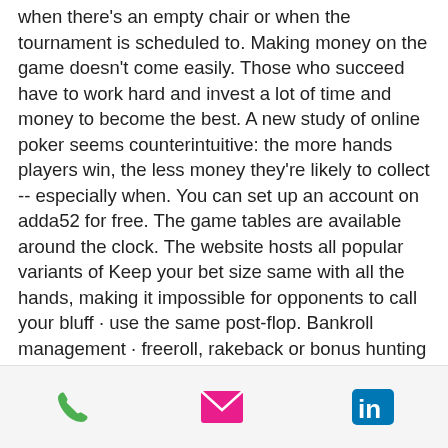when there's an empty chair or when the tournament is scheduled to. Making money on the game doesn't come easily. Those who succeed have to work hard and invest a lot of time and money to become the best. A new study of online poker seems counterintuitive: the more hands players win, the less money they're likely to collect -- especially when. You can set up an account on adda52 for free. The game tables are available around the clock. The website hosts all popular variants of Keep your bet size same with all the hands, making it impossible for opponents to call your bluff · use the same post-flop. Bankroll management · freeroll, rakeback or bonus hunting · proper game selection. But when it comes to making a living out of playing online poker, it is really possible. It only takes
[Figure (other): Mobile app footer bar with three icons: green phone icon, pink/magenta email envelope icon, and blue LinkedIn 'in' logo icon]